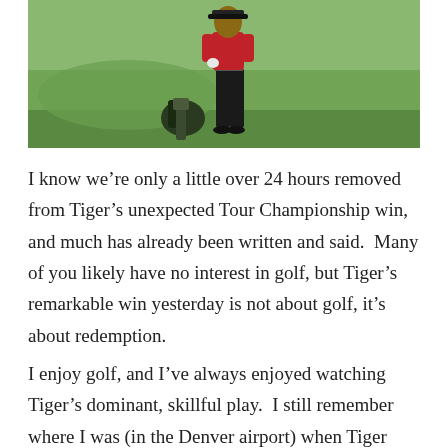[Figure (photo): A golfer wearing a red shirt and black pants standing on a golf course green, with another person crouching in the background near a golf bag]
I know we’re only a little over 24 hours removed from Tiger’s unexpected Tour Championship win, and much has already been written and said. Many of you likely have no interest in golf, but Tiger’s remarkable win yesterday is not about golf, it’s about redemption.
I enjoy golf, and I’ve always enjoyed watching Tiger’s dominant, skillful play. I still remember where I was (in the Denver airport) when Tiger won